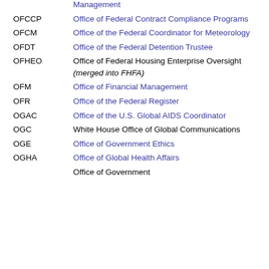OFCCP - Office of Federal Contract Compliance Programs
OFCM - Office of the Federal Coordinator for Meteorology
OFDT - Office of the Federal Detention Trustee
OFHEO - Office of Federal Housing Enterprise Oversight (merged into FHFA)
OFM - Office of Financial Management
OFR - Office of the Federal Register
OGAC - Office of the U.S. Global AIDS Coordinator
OGC - White House Office of Global Communications
OGE - Office of Government Ethics
OGHA - Office of Global Health Affairs
Office of Government...